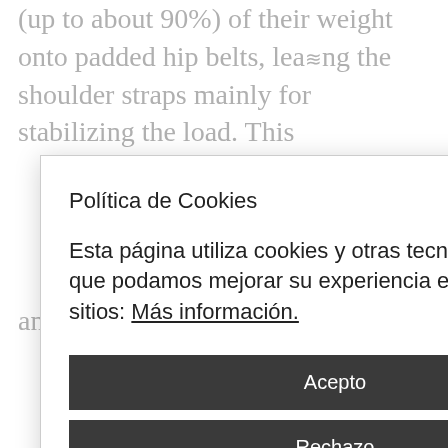(up to about 90%) of their weight onto padded hip belts, leading the shoulder straps mainly for stabilizing the load. This heavy than the agility and arer the was used s larger nd as a r materials. hunters would dismember their prey and distribute
Política de Cookies
Esta página utiliza cookies y otras tecnologías para que podamos mejorar su experiencia en nuestros sitios: Más información.
Acepto
Rechazo